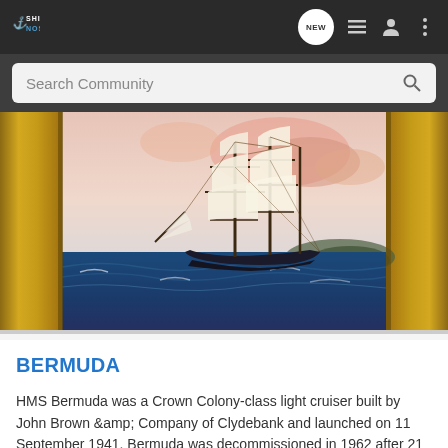SHIPS NOSTALGIA
[Figure (illustration): Painting of a tall sailing ship with full white sails on blue ocean waters, displayed in an ornate gold frame against a pastel pink and blue sky background. The ship appears to be a square-rigged vessel from the age of sail.]
BERMUDA
HMS Bermuda was a Crown Colony-class light cruiser built by John Brown &amp;amp; Company of Clydebank and launched on 11 September 1941. Bermuda was decommissioned in 1962 after 21 years in service. She...